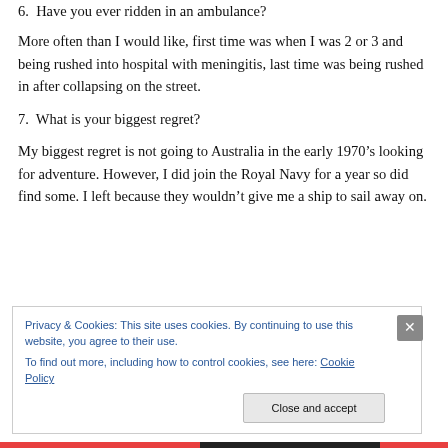6.  Have you ever ridden in an ambulance?
More often than I would like, first time was when I was 2 or 3 and being rushed into hospital with meningitis, last time was being rushed in after collapsing on the street.
7.  What is your biggest regret?
My biggest regret is not going to Australia in the early 1970’s looking for adventure. However, I did join the Royal Navy for a year so did find some. I left because they wouldn’t give me a ship to sail away on.
Privacy & Cookies: This site uses cookies. By continuing to use this website, you agree to their use.
To find out more, including how to control cookies, see here: Cookie Policy